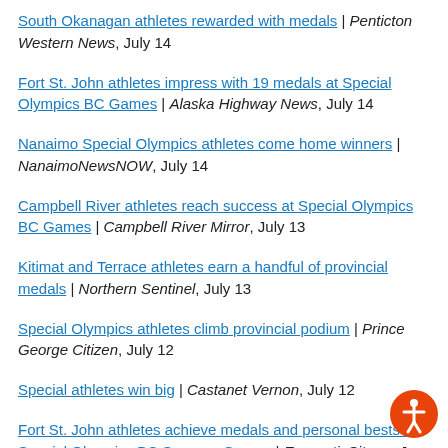South Okanagan athletes rewarded with medals | Penticton Western News, July 14
Fort St. John athletes impress with 19 medals at Special Olympics BC Games | Alaska Highway News, July 14
Nanaimo Special Olympics athletes come home winners | NanaimoNewsNOW, July 14
Campbell River athletes reach success at Special Olympics BC Games | Campbell River Mirror, July 13
Kitimat and Terrace athletes earn a handful of provincial medals | Northern Sentinel, July 13
Special Olympics athletes climb provincial podium | Prince George Citizen, July 12
Special athletes win big | Castanet Vernon, July 12
Fort St. John athletes achieve medals and personal bests at Special Olympics BC Summer Games | EnergeticCity.ca, Ju...